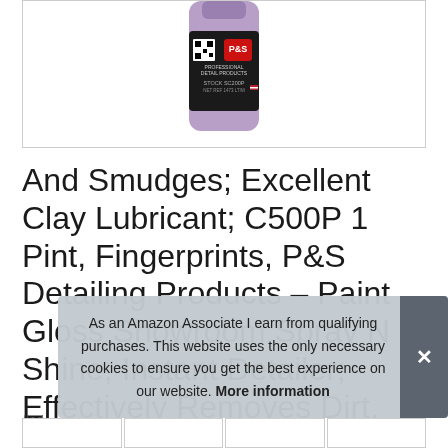[Figure (photo): Purple P&S Professional Detail Products bottle (C500P) with QR code and red P&S logo on a black label, partially cropped at top, shown inside a white bordered box.]
And Smudges; Excellent Clay Lubricant; C500P 1 Pint, Fingerprints, P&S Detailing Products – Paint Gloss Showroom Spray N Shine; Instant Detailer; Effectively Removes Dirt, Dust
#ad
As an Amazon Associate I earn from qualifying purchases. This website uses the only necessary cookies to ensure you get the best experience on our website. More information